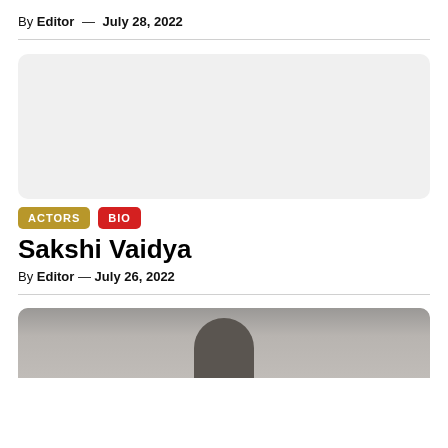By Editor — July 28, 2022
[Figure (photo): Light grey placeholder image card with rounded corners]
ACTORS  BIO
Sakshi Vaidya
By Editor — July 26, 2022
[Figure (photo): Partial photo showing top of person's head with dark hair against grey background]